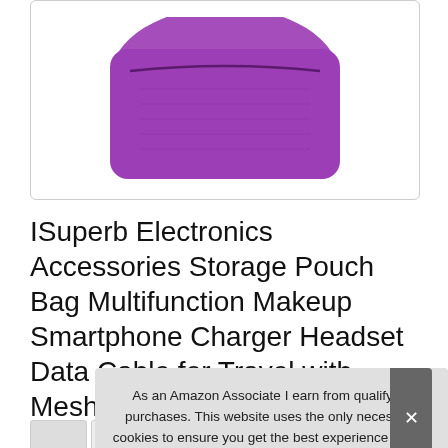[Figure (photo): Purple fabric storage pouch/bag product photo on white background, partially visible, top portion cropped]
ISuperb Electronics Accessories Storage Pouch Bag Multifunction Makeup Smartphone Charger Headset Data Cable for Travel with Mesh Handbag Purple
As an Amazon Associate I earn from qualifying purchases. This website uses the only necessary cookies to ensure you get the best experience on our website. More information
[Figure (photo): Thumbnail strip of product images at bottom of page, partially visible]